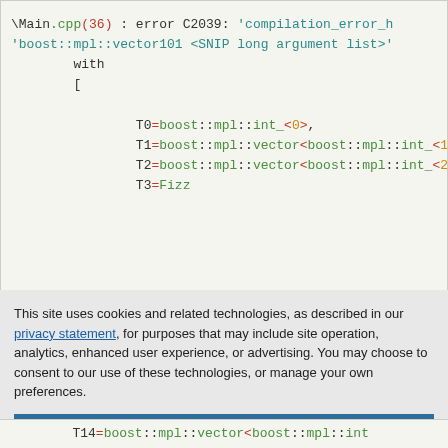[Figure (screenshot): Code block showing C++ compiler error output with colored syntax: error C2039 in Main.cpp with template type substitution list showing T0=boost::mpl::int_<0>, T1=boost::mpl::vector<boost::mpl::int_<1>, T2=boost::mpl::vector<boost::mpl::int_<2, T3=Fizz]
This site uses cookies and related technologies, as described in our privacy statement, for purposes that may include site operation, analytics, enhanced user experience, or advertising. You may choose to consent to our use of these technologies, or manage your own preferences.
Accept Cookies
More Information
Privacy Policy | Powered by: TrustArc
[Figure (screenshot): Bottom strip of code: T14=boost::mpl::vector<boost::mpl::int]